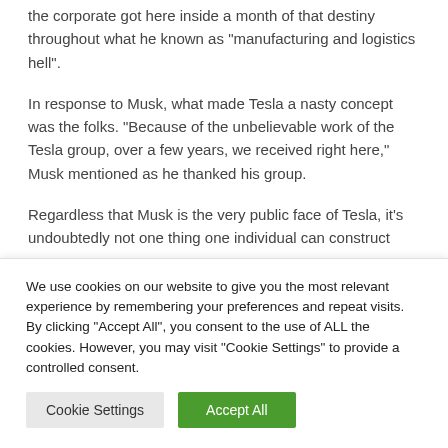the corporate got here inside a month of that destiny throughout what he known as “manufacturing and logistics hell”.
In response to Musk, what made Tesla a nasty concept was the folks. “Because of the unbelievable work of the Tesla group, over a few years, we received right here,” Musk mentioned as he thanked his group.
Regardless that Musk is the very public face of Tesla, it’s undoubtedly not one thing one individual can construct
We use cookies on our website to give you the most relevant experience by remembering your preferences and repeat visits. By clicking “Accept All”, you consent to the use of ALL the cookies. However, you may visit "Cookie Settings" to provide a controlled consent.